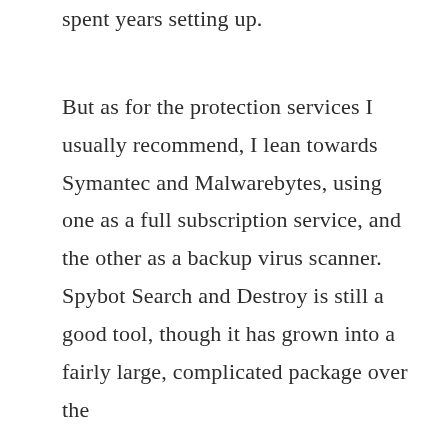spent years setting up.
But as for the protection services I usually recommend, I lean towards Symantec and Malwarebytes, using one as a full subscription service, and the other as a backup virus scanner. Spybot Search and Destroy is still a good tool, though it has grown into a fairly large, complicated package over the